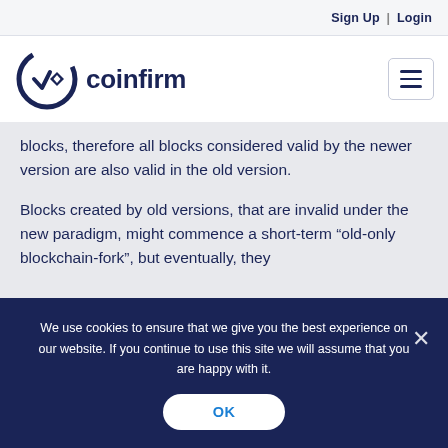Sign Up | Login
[Figure (logo): Coinfirm logo: circular C with check and diamond shapes, next to bold text 'coinfirm']
blocks, therefore all blocks considered valid by the newer version are also valid in the old version.
Blocks created by old versions, that are invalid under the new paradigm, might commence a short-term “old-only blockchain-fork”, but eventually, they
We use cookies to ensure that we give you the best experience on our website. If you continue to use this site we will assume that you are happy with it.